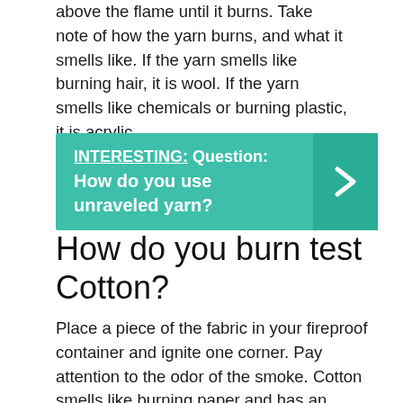above the flame until it burns. Take note of how the yarn burns, and what it smells like. If the yarn smells like burning hair, it is wool. If the yarn smells like chemicals or burning plastic, it is acrylic.
[Figure (infographic): Teal callout box with 'INTERESTING: Question: How do you use unraveled yarn?' text and a right-arrow chevron on the right side.]
How do you burn test Cotton?
Place a piece of the fabric in your fireproof container and ignite one corner. Pay attention to the odor of the smoke. Cotton smells like burning paper and has an afterglow at the end of the burn. An odor